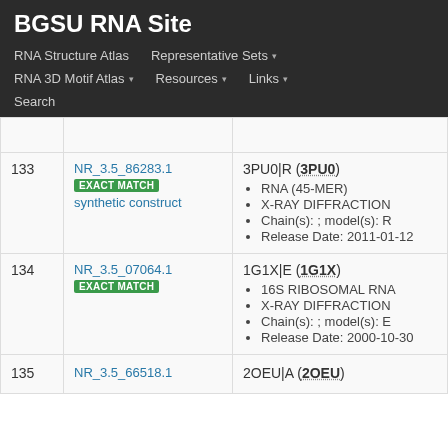BGSU RNA Site
RNA Structure Atlas | Representative Sets ▾ | RNA 3D Motif Atlas ▾ | Resources ▾ | Links ▾ | Search
| # | ID | Details |
| --- | --- | --- |
| 133 | NR_3.5_86283.1
EXACT MATCH
synthetic construct | 3PU0|R (3PU0)
• RNA (45-MER)
• X-RAY DIFFRACTION
• Chain(s): ; model(s): R
• Release Date: 2011-01-12 |
| 134 | NR_3.5_07064.1
EXACT MATCH | 1G1X|E (1G1X)
• 16S RIBOSOMAL RNA
• X-RAY DIFFRACTION
• Chain(s): ; model(s): E
• Release Date: 2000-10-30 |
| 135 | NR_3.5_66518.1 | 2OEU|A (2OEU) |